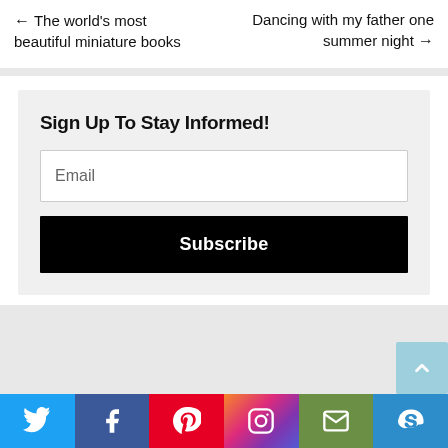← The world's most beautiful miniature books
Dancing with my father one summer night →
Sign Up To Stay Informed!
Email
Subscribe
[Figure (infographic): Social media share bar with Twitter, Facebook, Pinterest, Instagram, Email, and Skype icons]